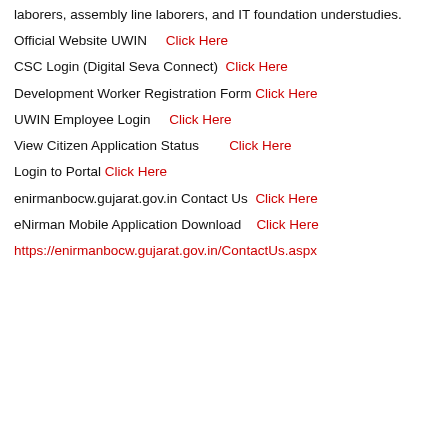laborers, assembly line laborers, and IT foundation understudies.
Official Website UWIN    Click Here
CSC Login (Digital Seva Connect)  Click Here
Development Worker Registration Form Click Here
UWIN Employee Login    Click Here
View Citizen Application Status        Click Here
Login to Portal Click Here
enirmanbocw.gujarat.gov.in Contact Us  Click Here
eNirman Mobile Application Download    Click Here
https://enirmanbocw.gujarat.gov.in/ContactUs.aspx